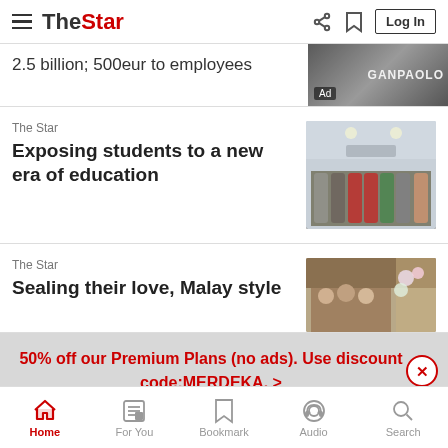The Star — Log In
2.5 billion; 500eur to employees
[Figure (photo): Partial advertisement image showing GANPAOLO signage with Ad badge]
The Star
Exposing students to a new era of education
[Figure (photo): Group photo of masked students and faculty in a classroom/office setting]
The Star
Sealing their love, Malay style
[Figure (photo): Wedding photo with people posing in front of floral decorations, Malay style]
50% off our Premium Plans (no ads).  Use discount code:MERDEKA.  >
Home   For You   Bookmark   Audio   Search